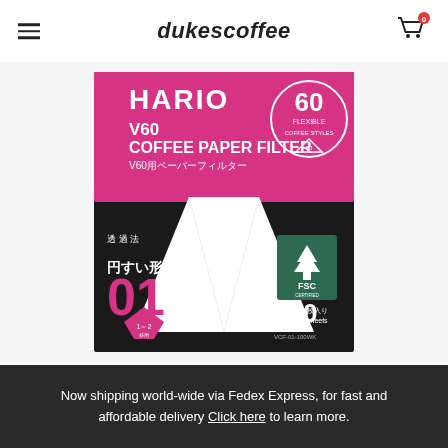dukescoffee
[Figure (photo): Product photo of Hario V60 Coffee Paper Filter box (VCF-01-100WK), pink and black packaging, 100 sheets, size 01, for 1-2 cups, with FSC certification logo and a white conical paper filter visible]
Now shipping world-wide via Fedex Express, for fast and affordable delivery Click here to learn more.